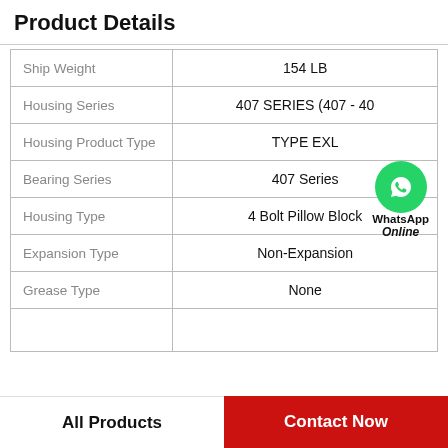Product Details
| Property | Value |
| --- | --- |
| Ship Weight | 154 LB |
| Housing Series | 407 SERIES (407 - 40 |
| Housing Product Type | TYPE EXL |
| Bearing Series | 407 Series |
| Housing Type | 4 Bolt Pillow Block |
| Expansion Type | Non-Expansion |
| Grease Type | None |
|  |  |
WhatsApp Online
All Products   Contact Now